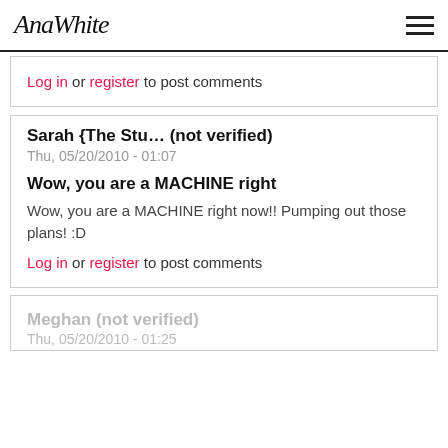AnaWhite
Log in or register to post comments
Sarah {The Stu… (not verified)
Thu, 05/20/2010 - 01:07
Wow, you are a MACHINE right
Wow, you are a MACHINE right now!! Pumping out those plans! :D
Log in or register to post comments
Meghan (not verified)
Thu, 05/20/2010 - 01:25